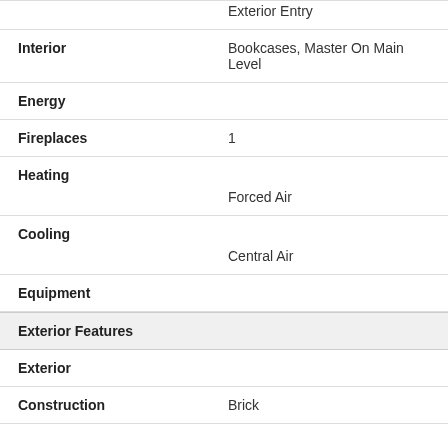| Field | Value |
| --- | --- |
|  | Exterior Entry |
| Interior | Bookcases, Master On Main Level |
| Energy |  |
| Fireplaces | 1 |
| Heating |  |
|  | Forced Air |
| Cooling |  |
|  | Central Air |
| Equipment |  |
| Exterior Features |  |
| Exterior |  |
| Construction | Brick |